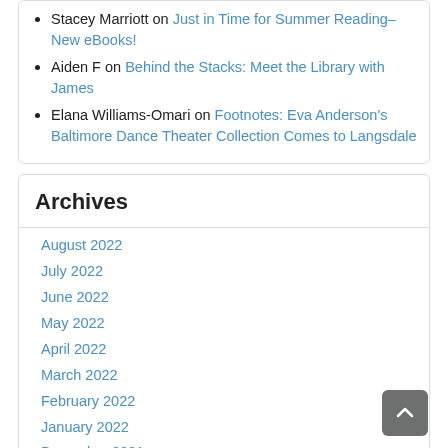Stacey Marriott on Just in Time for Summer Reading–New eBooks!
Aiden F on Behind the Stacks: Meet the Library with James
Elana Williams-Omari on Footnotes: Eva Anderson's Baltimore Dance Theater Collection Comes to Langsdale
Archives
August 2022
July 2022
June 2022
May 2022
April 2022
March 2022
February 2022
January 2022
December 2021
November 2021
October 2021
September 2021